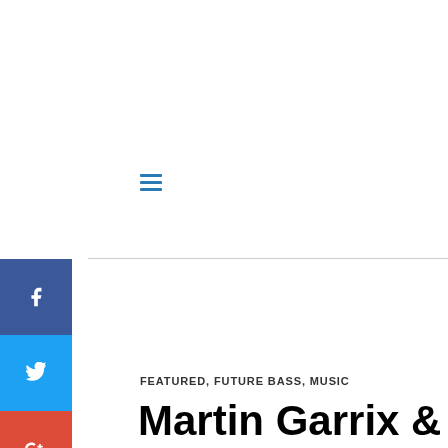[Figure (infographic): Hamburger menu icon (three horizontal teal/blue lines)]
[Figure (infographic): Social media share buttons sidebar: Facebook (blue), Twitter (light blue), Google+ (red), VK (dark blue), Reddit (dark/black), WhatsApp (green)]
FEATURED, FUTURE BASS, MUSIC
Martin Garrix &